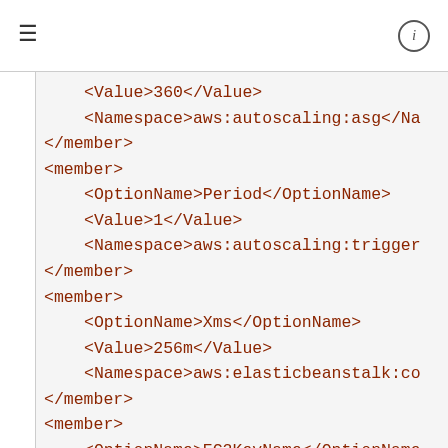≡  ⓘ
<Value>360</Value>
<Namespace>aws:autoscaling:asg</Namespace>
</member>
<member>
  <OptionName>Period</OptionName>
  <Value>1</Value>
  <Namespace>aws:autoscaling:trigger</Namespace>
</member>
<member>
  <OptionName>Xms</OptionName>
  <Value>256m</Value>
  <Namespace>aws:elasticbeanstalk:co</Namespace>
</member>
<member>
  <OptionName>EC2KeyName</OptionName>
  <Value/>
  <Namespace>aws:autoscaling:launcho</Namespace>